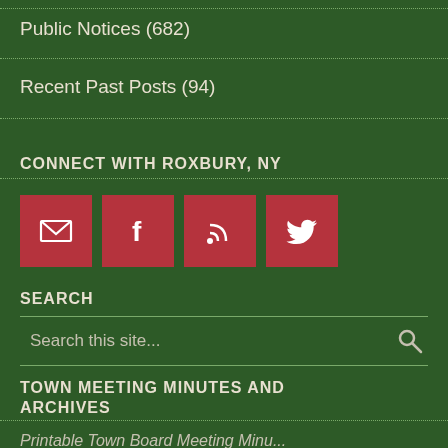Public Notices (682)
Recent Past Posts (94)
CONNECT WITH ROXBURY, NY
[Figure (infographic): Four red social media icon buttons: email envelope, Facebook f, RSS feed, Twitter bird]
SEARCH
Search this site...
TOWN MEETING MINUTES AND ARCHIVES
Printable Town Board Meeting Minu...